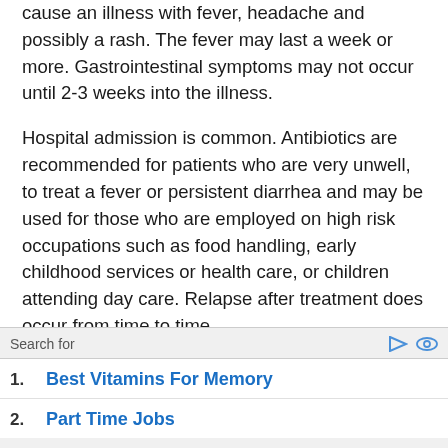cause an illness with fever, headache and possibly a rash. The fever may last a week or more. Gastrointestinal symptoms may not occur until 2-3 weeks into the illness.
Hospital admission is common. Antibiotics are recommended for patients who are very unwell, to treat a fever or persistent diarrhea and may be used for those who are employed on high risk occupations such as food handling, early childhood services or health care, or children attending day care. Relapse after treatment does occur from time to time.
Visit myLABBox.com for easy, convenient and fast screening solutions for prevalent STDs, all in the privacy of your own home.
Search for
1. Best Vitamins For Memory
2. Part Time Jobs